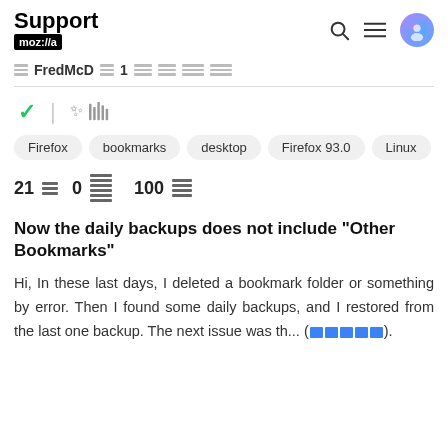Support moz://a
FredMcD 1
21 0 100
Now the daily backups does not include "Other Bookmarks"
Hi, In these last days, I deleted a bookmark folder or something by error. Then I found some daily backups, and I restored from the last one backup. The next issue was th... (read more)